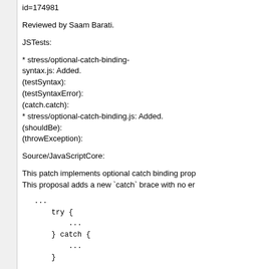id=174981
Reviewed by Saam Barati.
JSTests:
* stress/optional-catch-binding-syntax.js: Added.
(testSyntax):
(testSyntaxError):
(catch.catch):
* stress/optional-catch-binding.js: Added.
(shouldBe):
(throwException):
Source/JavaScriptCore:
This patch implements optional catch binding prop
This proposal adds a new `catch` brace with no er
...
    try {
        ...
    } catch {
        ...
    }
...
Sometimes we do not need to get error value actu
boolean which means whether the function succee